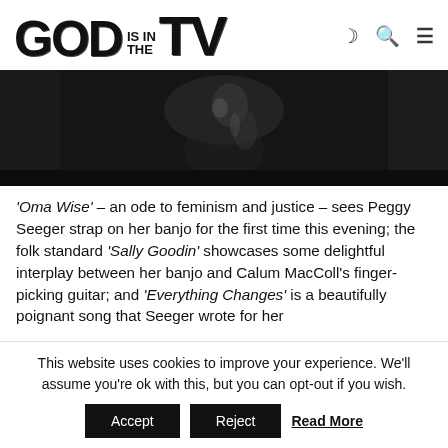GOD IS IN THE TV
[Figure (photo): Dark black and white photo, partially visible figure on dark background]
'Oma Wise' – an ode to feminism and justice – sees Peggy Seeger strap on her banjo for the first time this evening; the folk standard 'Sally Goodin' showcases some delightful interplay between her banjo and Calum MacColl's finger-picking guitar; and 'Everything Changes' is a beautifully poignant song that Seeger wrote for her
This website uses cookies to improve your experience. We'll assume you're ok with this, but you can opt-out if you wish.
Accept   Reject   Read More